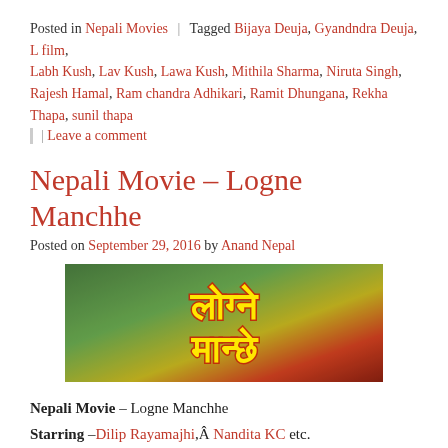Posted in Nepali Movies | Tagged Bijaya Deuja, Gyandndra Deuja, L film, Labh Kush, Lav Kush, Lawa Kush, Mithila Sharma, Niruta Singh, Rajesh Hamal, Ram chandra Adhikari, Ramit Dhungana, Rekha Thapa, sunil thapa
| Leave a comment
Nepali Movie – Logne Manchhe
Posted on September 29, 2016 by Anand Nepal
[Figure (photo): Movie logo/title image for Logne Manchhe in Devanagari script with yellow and red stylized text on a colorful background]
Nepali Movie – Logne Manchhe
Starring –Dilip Rayamajhi,Â Nandita KC etc.
Director -Â Laya Sangraula
ABOUT 'LOGNE MANCHHE'
The Nepali love story movie by Laya Sangraula, is a popular television serial director. The movie 'Logne Manchhe' marks the debut of Sangraula in the Nepali movie industry. The